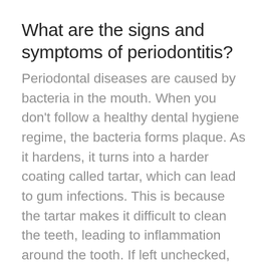What are the signs and symptoms of periodontitis?
Periodontal diseases are caused by bacteria in the mouth. When you don't follow a healthy dental hygiene regime, the bacteria forms plaque. As it hardens, it turns into a harder coating called tartar, which can lead to gum infections. This is because the tartar makes it difficult to clean the teeth, leading to inflammation around the tooth. If left unchecked, you can develop periodontal disease. Gum disease symptoms include:
Bad breath